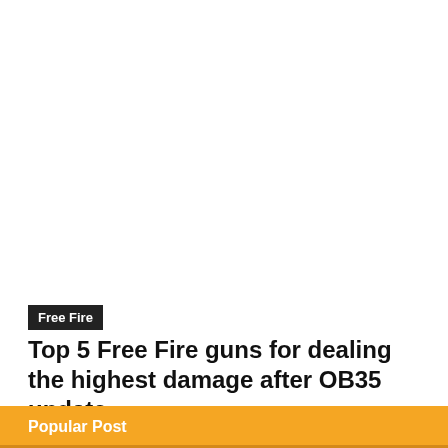[Figure (photo): White/blank image area at top of article page]
Free Fire
Top 5 Free Fire guns for dealing the highest damage after OB35 update
Popular Post